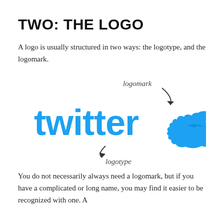TWO: THE LOGO
A logo is usually structured in two ways: the logotype, and the logomark.
[Figure (illustration): Twitter logo showing the word 'twitter' in cyan/blue rounded font with the Twitter bird icon to the right. Annotated with handwritten-style labels: 'logomark' pointing to the bird with a curved arrow, and 'logotype' pointing to the text with a curved arrow.]
You do not necessarily always need a logomark, but if you have a complicated or long name, you may find it easier to be recognized with one. A